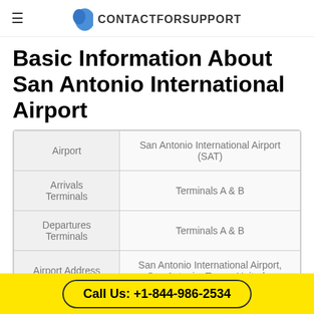CONTACTFORSUPPORT
Basic Information About San Antonio International Airport
|  |  |
| --- | --- |
| Airport | San Antonio International Airport (SAT) |
| Arrivals Terminals | Terminals A & B |
| Departures Terminals | Terminals A & B |
| Airport Address | San Antonio International Airport, San Antonio, Texas, United... |
Call Us: +1-844-986-2534